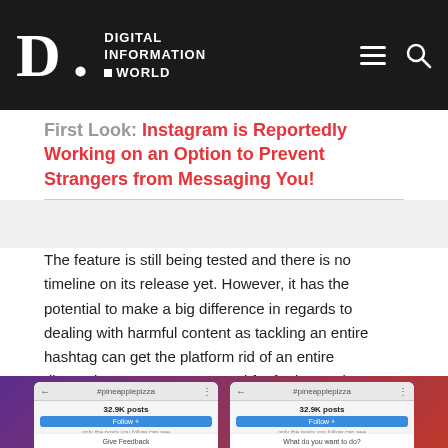Digital Information World
Instagram is Reportedly Working on an Option to Prevent Strangers from Messaging You!
The feature is still being tested and there is no timeline on its release yet. However, it has the potential to make a big difference in regards to dealing with harmful content as tackling an entire hashtag can get the platform rid of an entire discussion at once. Stay tuned for further updates.
[Figure (screenshot): Two side-by-side Instagram app screenshots showing the #pineapplepizza hashtag page with 32.9K posts, a Follow button, and bottom option sheets reading 'Give Feedback' and 'What do you want to do?' respectively, set against a purple-to-red gradient background.]